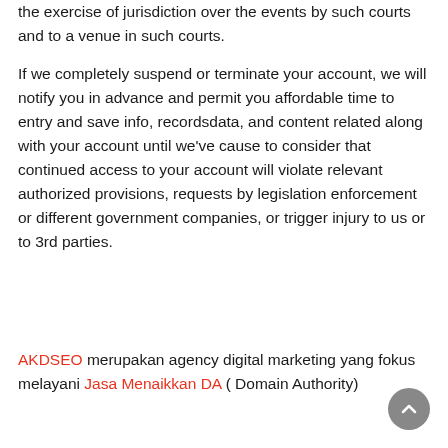the exercise of jurisdiction over the events by such courts and to a venue in such courts.
If we completely suspend or terminate your account, we will notify you in advance and permit you affordable time to entry and save info, recordsdata, and content related along with your account until we've cause to consider that continued access to your account will violate relevant authorized provisions, requests by legislation enforcement or different government companies, or trigger injury to us or to 3rd parties.
AKDSEO merupakan agency digital marketing yang fokus melayani Jasa Menaikkan DA ( Domain Authority)